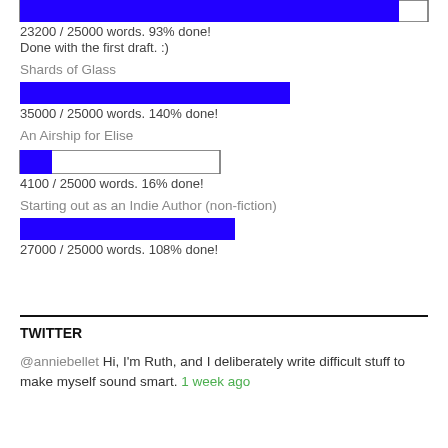[Figure (bar-chart): Progress bar ~93%]
23200 / 25000 words. 93% done!
Done with the first draft. :)
Shards of Glass
[Figure (bar-chart): Progress bar ~140%]
35000 / 25000 words. 140% done!
An Airship for Elise
[Figure (bar-chart): Progress bar ~16%]
4100 / 25000 words. 16% done!
Starting out as an Indie Author (non-fiction)
[Figure (bar-chart): Progress bar ~108%]
27000 / 25000 words. 108% done!
TWITTER
@anniebellet Hi, I'm Ruth, and I deliberately write difficult stuff to make myself sound smart. 1 week ago